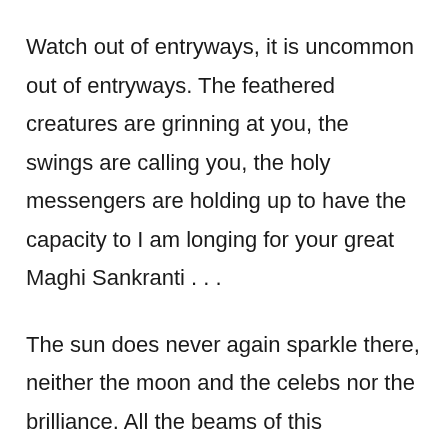Watch out of entryways, it is uncommon out of entryways. The feathered creatures are grinning at you, the swings are calling you, the holy messengers are holding up to have the capacity to I am longing for your great Maghi Sankranti . . .
The sun does never again sparkle there, neither the moon and the celebs nor the brilliance. All the beams of this worldwide can't be contrasted with the internal light